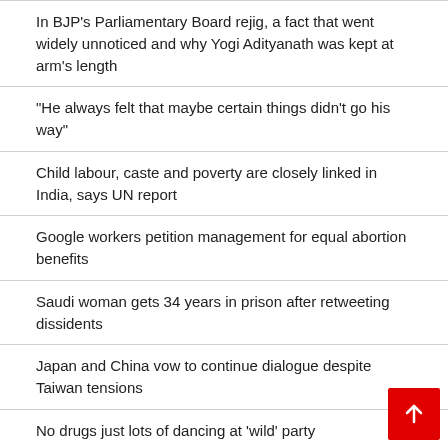In BJP's Parliamentary Board rejig, a fact that went widely unnoticed and why Yogi Adityanath was kept at arm's length
“He always felt that maybe certain things didn’t go his way”
Child labour, caste and poverty are closely linked in India, says UN report
Google workers petition management for equal abortion benefits
Saudi woman gets 34 years in prison after retweeting dissidents
Japan and China vow to continue dialogue despite Taiwan tensions
No drugs just lots of dancing at ‘wild’ party
SSC Recruitment Scam: Kolkata Court Extends Judicial Custody of Partha Chatterjee, Arpita Mukherjee Till August 31